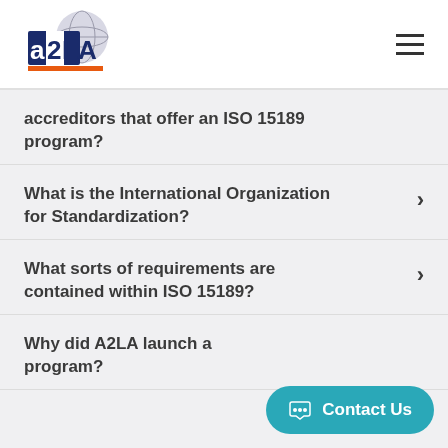[Figure (logo): A2LA logo with globe graphic and orange underline bar]
accreditors that offer an ISO 15189 program?
What is the International Organization for Standardization?
What sorts of requirements are contained within ISO 15189?
Why did A2LA launch a program?